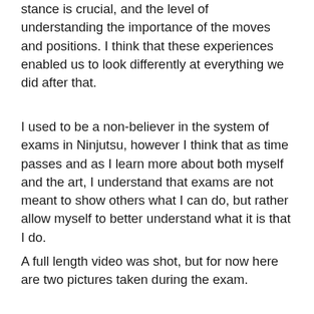stance is crucial, and the level of understanding the importance of the moves and positions. I think that these experiences enabled us to look differently at everything we did after that.
I used to be a non-believer in the system of exams in Ninjutsu, however I think that as time passes and as I learn more about both myself and the art, I understand that exams are not meant to show others what I can do, but rather allow myself to better understand what it is that I do.
A full length video was shot, but for now here are two pictures taken during the exam.